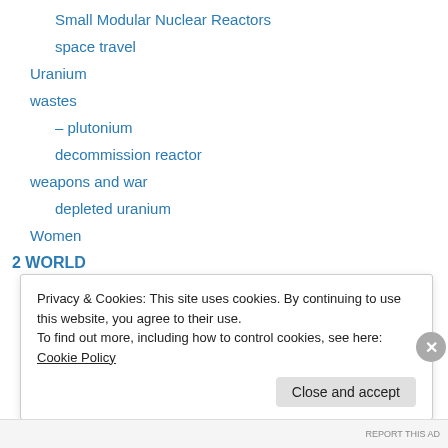Small Modular Nuclear Reactors
space travel
Uranium
wastes
– plutonium
decommission reactor
weapons and war
depleted uranium
Women
2 WORLD
ANTARCTICA
ARCTIC
ASIA
Privacy & Cookies: This site uses cookies. By continuing to use this website, you agree to their use.
To find out more, including how to control cookies, see here: Cookie Policy
Close and accept